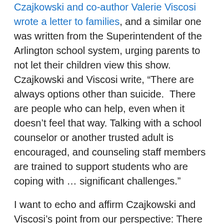Czajkowski and co-author Valerie Viscosi wrote a letter to families, and a similar one was written from the Superintendent of the Arlington school system, urging parents to not let their children view this show.  Czajkowski and Viscosi write, “There are always options other than suicide.  There are people who can help, even when it doesn’t feel that way. Talking with a school counselor or another trusted adult is encouraged, and counseling staff members are trained to support students who are coping with … significant challenges.”
I want to echo and affirm Czajkowski and Viscosi’s point from our perspective: There are people at Follen Church who can help support parents and youth in meeting the challenges of life. There are support groups in place, lay ministers who work with adults and youth and children. The ministers and I have names of counselors and therapists, and are also very willing to meet with youth, children and families – individually or together – to listen, reflect, and try to help.